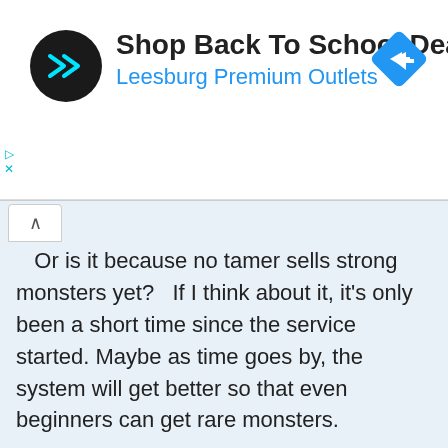[Figure (other): Advertisement banner: circular black logo with double arrow symbol, heading 'Shop Back To School Deals', subheading 'Leesburg Premium Outlets' in blue, blue diamond navigation icon on right, play and close controls on left]
Or is it because no tamer sells strong monsters yet?   If I think about it, it's only been a short time since the service started. Maybe as time goes by, the system will get better so that even beginners can get rare monsters.